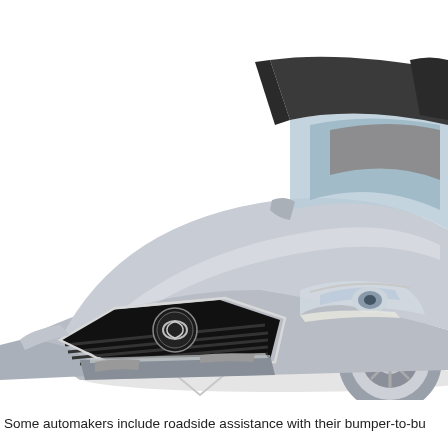[Figure (photo): Front three-quarter view of a silver Lexus sedan (GS series) on a white background, showing the distinctive spindle grille, Lexus logo, headlights, hood, windshield, and alloy wheels.]
Some automakers include roadside assistance with their bumper-to-bu